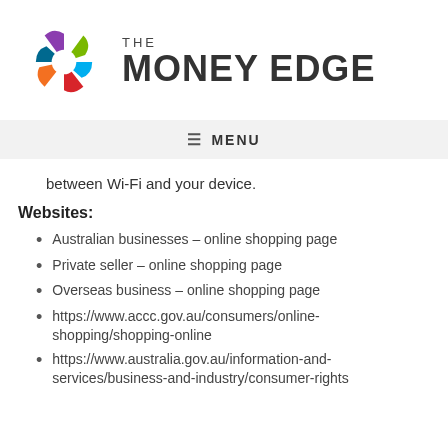[Figure (logo): The Money Edge logo with colorful pinwheel-style circular icon and text 'THE MONEY EDGE']
≡ MENU
between Wi-Fi and your device.
Websites:
Australian businesses – online shopping page
Private seller – online shopping page
Overseas business – online shopping page
https://www.accc.gov.au/consumers/online-shopping/shopping-online
https://www.australia.gov.au/information-and-services/business-and-industry/consumer-rights